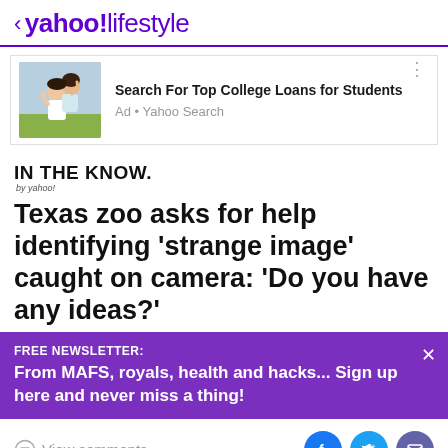< yahoo!lifestyle
[Figure (photo): Advertisement banner: two young women hugging and laughing outdoors, with text 'Search For Top College Loans for Students' and 'Ad • Yahoo Search']
[Figure (logo): IN THE KNOW. by yahoo! logo]
Texas zoo asks for help identifying 'strange image' caught on camera: 'Do you have any ideas?'
FREE NEWSLETTER:
From MAFS, royals, health and hacks... Sign up here and never miss a thing!
View comments